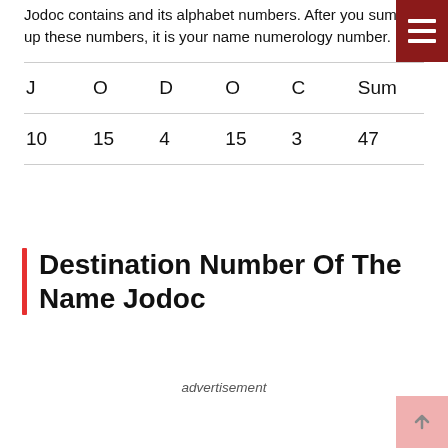Jodoc contains and its alphabet numbers. After you sum up these numbers, it is your name numerology number.
| J | O | D | O | C | Sum |
| --- | --- | --- | --- | --- | --- |
| 10 | 15 | 4 | 15 | 3 | 47 |
Destination Number Of The Name Jodoc
advertisement